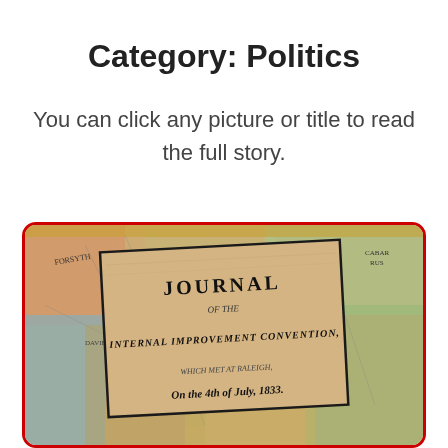Category: Politics
You can click any picture or title to read the full story.
[Figure (photo): A historical photograph showing the cover page of a 'Journal of the Internal Improvement Convention, Which Met at Raleigh, On the 4th of July, 1833' document laid over a colorful antique map background. The image has a red rounded border.]